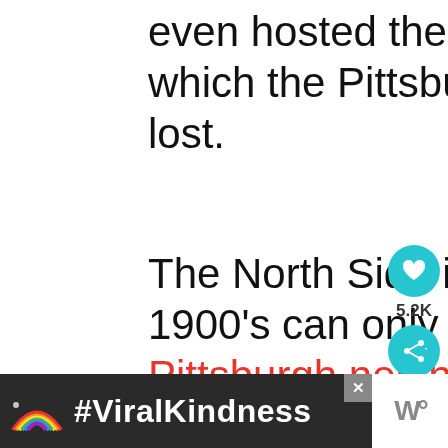even hosted the first World Series which the Pittsburgh Pirates sadly lost.
The North Side in the mid-to-late 1900's can only be described as a Pittsburgh neighborhood in decline, and it has been only recently that a new
[Figure (other): Social media UI sidebar: heart/like button (teal circle with heart icon), count label 5.2K, share button (teal circle with share icon), gray image bar, What's Next label with Fig & Ash Review thumbnail]
[Figure (other): Advertisement banner: dark background with rainbow illustration and bold white text #ViralKindness, close X button, W logo on right]